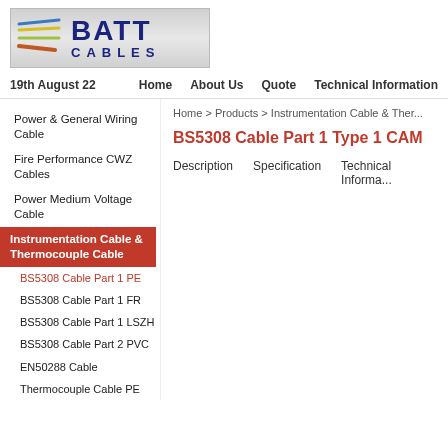[Figure (logo): Batt Cables logo with colored cable lines and dark blue BATT CABLES text]
19th August 22    Home    About Us    Quote    Technical Information
Home > Products > Instrumentation Cable & Ther...
Power & General Wiring Cable
Fire Performance CWZ Cables
Power Medium Voltage Cable
Instrumentation Cable & Thermocouple Cable
BS5308 Cable Part 1 PE
BS5308 Cable Part 1 FR
BS5308 Cable Part 1 LSZH
BS5308 Cable Part 2 PVC
EN50288 Cable
Thermocouple Cable PE
BS5308 Cable Part 1 Type 1 CAM
Description    Specification    Technical Informa...